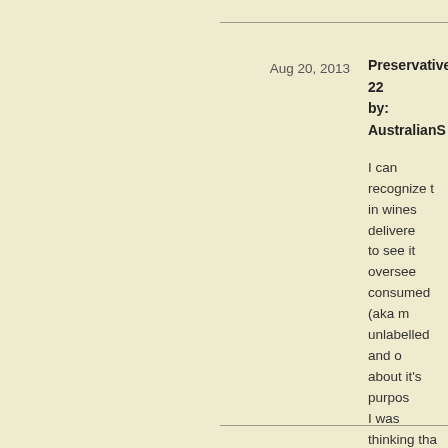Preservative 22 by: AustralianS
Aug 20, 2013
I can recognize t in wines delivere to see it oversee consumed (aka m unlabelled and o about it's purpos I was thinking tha standards have d a safety initiative My question to th you sell a wine th NOT HAVE PRE was going for the keeping seems c He said no, even contain it. I'm confused abo